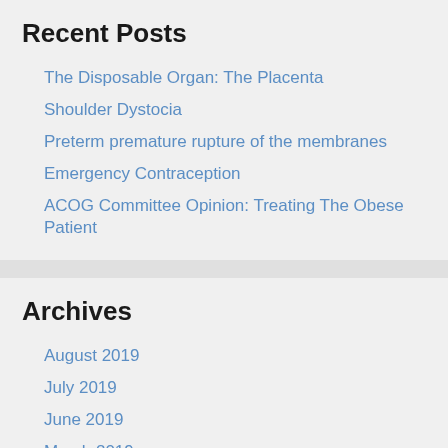Recent Posts
The Disposable Organ: The Placenta
Shoulder Dystocia
Preterm premature rupture of the membranes
Emergency Contraception
ACOG Committee Opinion: Treating The Obese Patient
Archives
August 2019
July 2019
June 2019
March 2019